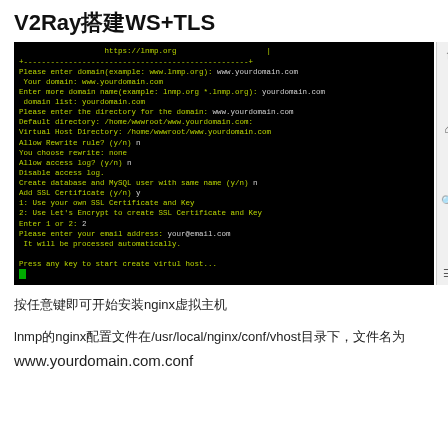V2Ray搭建WS+TLS
[Figure (screenshot): Terminal screenshot showing LNMP virtual host setup prompts: domain entry, directory, rewrite rules, access log, MySQL, SSL certificate options, Let's Encrypt email entry, and prompt to press any key to start.]
按任意键即可开始安装nginx虚拟主机
lnmp的nginx配置文件在/usr/local/nginx/conf/vhost目录下，文件名为
www.yourdomain.com.conf